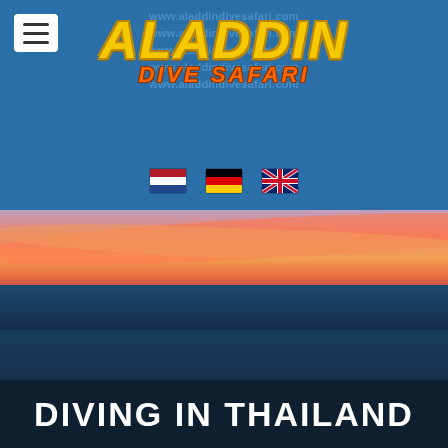[Figure (logo): Aladdin Dive Safari logo with yellow stylized lettering on blue background, with watermark URL www.aladdindivesafari.com repeated, and three flag icons (Netherlands, Germany, UK)]
[Figure (photo): Sunset landscape with dramatic orange, pink and red clouds over a dark ocean. Sky grades from warm orange to deep blue water.]
DIVING IN THAILAND